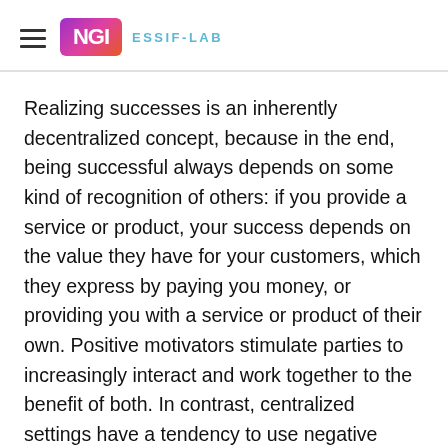NGI ESSIF-LAB
Realizing successes is an inherently decentralized concept, because in the end, being successful always depends on some kind of recognition of others: if you provide a service or product, your success depends on the value they have for your customers, which they express by paying you money, or providing you with a service or product of their own. Positive motivators stimulate parties to increasingly interact and work together to the benefit of both. In contrast, centralized settings have a tendency to use negative motivators to make people interact and work together.
Different methods have been around for some time now that may be part of decentralized GRC (and in